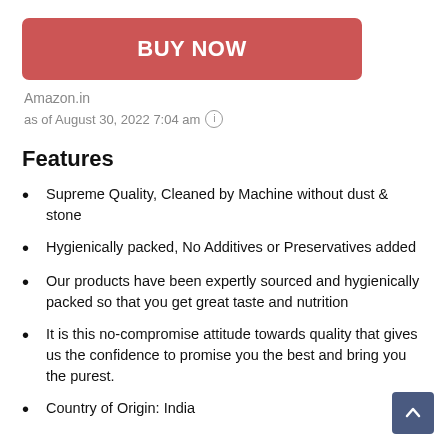[Figure (other): Red 'BUY NOW' button]
Amazon.in
as of August 30, 2022 7:04 am ℹ
Features
Supreme Quality, Cleaned by Machine without dust & stone
Hygienically packed, No Additives or Preservatives added
Our products have been expertly sourced and hygienically packed so that you get great taste and nutrition
It is this no-compromise attitude towards quality that gives us the confidence to promise you the best and bring you the purest.
Country of Origin: India